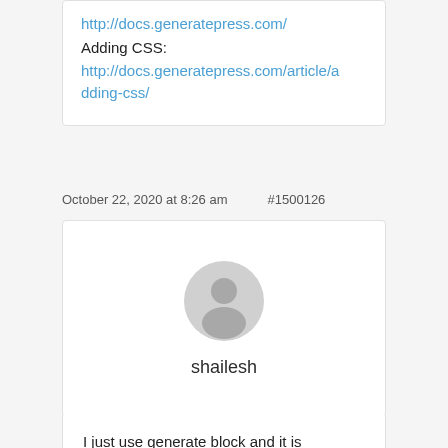http://docs.generatepress.com/
Adding CSS:
http://docs.generatepress.com/article/adding-css/
October 22, 2020 at 8:26 am    #1500126
[Figure (illustration): Generic user avatar icon - grey circle with person silhouette]
shailesh
I just use generate block and it is awesome kike you.
Thanks thanks thanks!!!